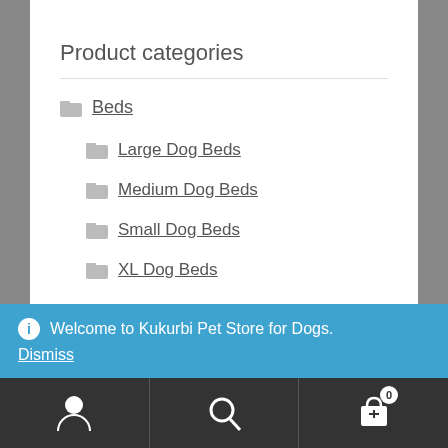Product categories
Beds
Large Dog Beds
Medium Dog Beds
Small Dog Beds
XL Dog Beds
ⓘ Welcome to Kukurbi Pet Store for Dogs. Dismiss